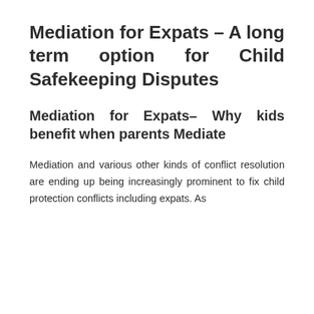Mediation for Expats – A long term option for Child Safekeeping Disputes
Mediation for Expats– Why kids benefit when parents Mediate
Mediation and various other kinds of conflict resolution are ending up being increasingly prominent to fix child protection conflicts including expats. As